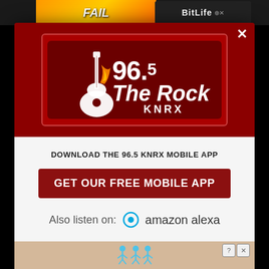[Figure (screenshot): Mobile website modal popup for 96.5 The Rock KNRX radio station. Red header with station logo, white body with download CTA and Amazon Alexa listener option. Background shows partially visible web page and ads.]
DOWNLOAD THE 96.5 KNRX MOBILE APP
GET OUR FREE MOBILE APP
Also listen on: amazon alexa